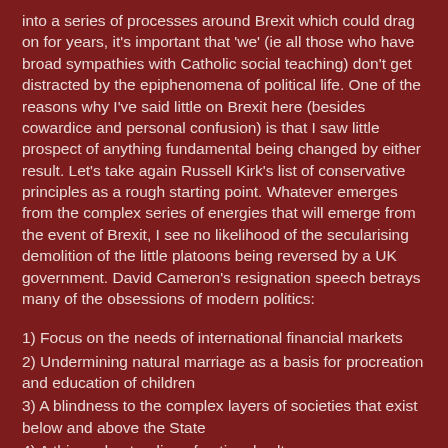into a series of processes around Brexit which could drag on for years, it's important that 'we' (ie all those who have broad sympathies with Catholic social teaching) don't get distracted by the epiphenomena of political life. One of the reasons why I've said little on Brexit here (besides cowardice and personal confusion) is that I saw little prospect of anything fundamental being changed by either result. Let's take again Russell Kirk's list of conservative principles as a rough starting point. Whatever emerges from the complex series of energies that will emerge from the event of Brexit, I see no likelihood of the secularising demolition of the little platoons being reversed by a UK government. David Cameron's resignation speech betrays many of the obsessions of modern politics:
1) Focus on the needs of international financial markets
2) Undermining natural marriage as a basis for procreation and education of children
3) A blindness to the complex layers of societies that exist below and above the State
4) A thin understanding of national culture